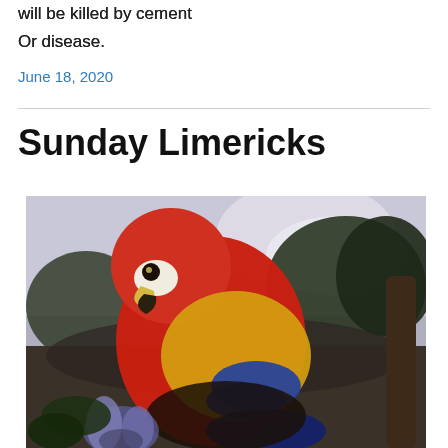will be killed by cement
Or disease.
June 18, 2020
Sunday Limericks
[Figure (photo): Classical oil painting of a scarlet macaw parrot perched on a branch with flowers in the foreground and a landscape with trees and cloudy sky in the background.]